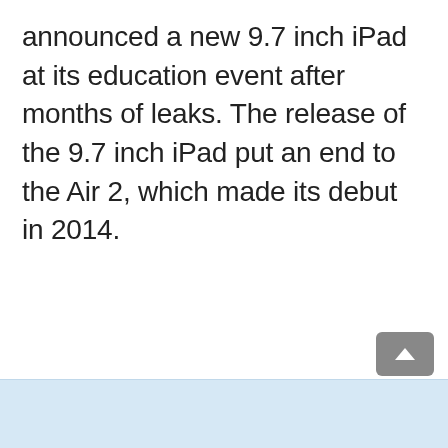announced a new 9.7 inch iPad at its education event after months of leaks. The release of the 9.7 inch iPad put an end to the Air 2, which made its debut in 2014.